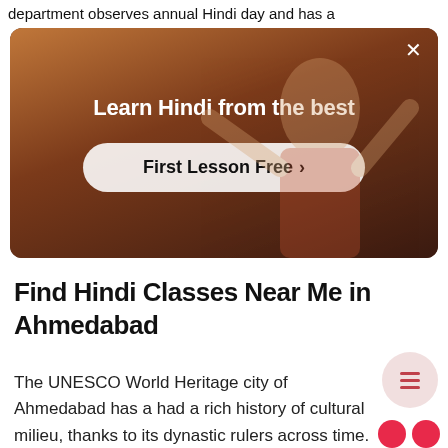department observes annual Hindi day and has a
[Figure (screenshot): Advertisement banner showing a person in a red outfit with arms raised, overlaid with text 'Learn Hindi from the best' and a button 'First Lesson Free >']
Find Hindi Classes Near Me in Ahmedabad
The UNESCO World Heritage city of Ahmedabad has a had a rich history of cultural milieu, thanks to its dynastic rulers across time.